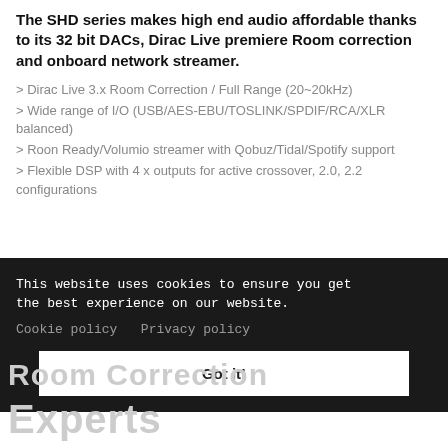The SHD series makes high end audio affordable thanks to its 32 bit DACs, Dirac Live premiere Room correction and onboard network streamer.
> Dirac Live 3.x Room Correction / Full Range (20~20kHz)
> Wide range of I/O (USB/AES-EBU/TOSLINK/SPDIF/RCA/XLR balanced)
> Roon Ready/Volumio streamer with Qobuz/Tidal/Spotify support
> Flexible DSP with 4 x outputs for active crossover, 2.0, 2.2 configurations
This website uses cookies to ensure you get the best experience on our website.
Cookie policy  Privacy policy
Got it!
Experts